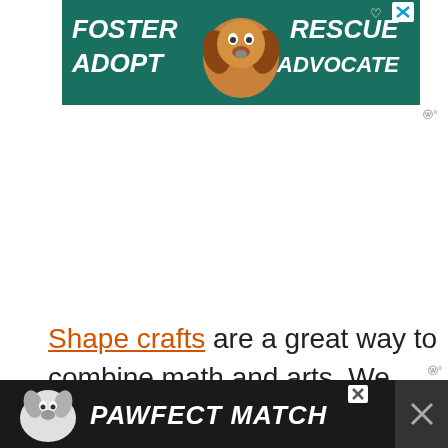[Figure (illustration): Advertisement banner with teal/green background showing a beagle dog in the center, bold white italic text 'FOSTER ADOPT' on the left and 'RESCUE ADVOCATE' on the right, with a close button (X) in top right corner.]
Shape crafts are a great way to combine math and arts. We have created many such cr... b...
[Figure (illustration): Advertisement banner with dark background showing a white and grey dog on the left, bold white italic text 'PAWFECT MATCH', with an X close button.]